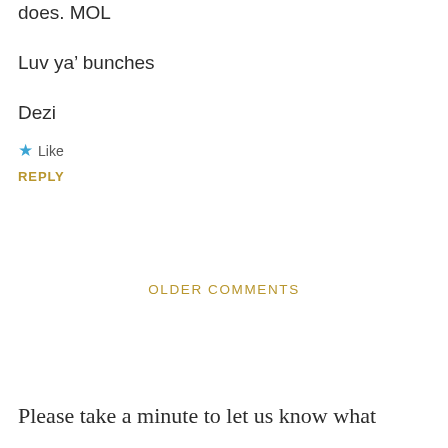does. MOL
Luv ya’ bunches
Dezi
★ Like
REPLY
OLDER COMMENTS
Please take a minute to let us know what